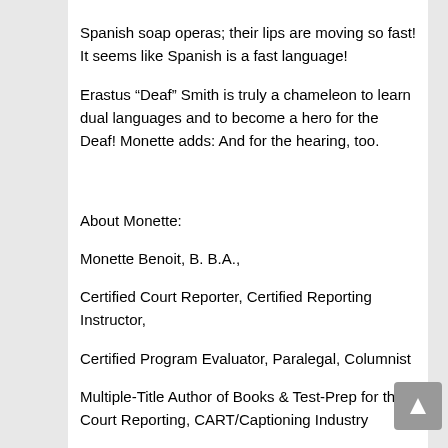Spanish soap operas; their lips are moving so fast! It seems like Spanish is a fast language!
Erastus “Deaf” Smith is truly a chameleon to learn dual languages and to become a hero for the Deaf! Monette adds: And for the hearing, too.
About Monette:
Monette Benoit, B. B.A.,
Certified Court Reporter, Certified Reporting Instructor,
Certified Program Evaluator, Paralegal, Columnist
Multiple-Title Author of Books & Test-Prep for the Court Reporting, CART/Captioning Industry
Purple Books – Court Reporter Reference Books & CDs: www.CRRbooks.com
All American RealTime/Captioning Services, Inc.: www.ARTCS.com
Blog: Monette’s Musings, Monette's Musings
Court reporting veteran, author, instructor, publisher, public speaker, Monette Benoit can help you achieve